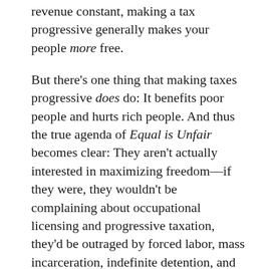revenue constant, making a tax progressive generally makes your people more free.
But there's one thing that making taxes progressive does do: It benefits poor people and hurts rich people. And thus the true agenda of Equal is Unfair becomes clear: They aren't actually interested in maximizing freedom—if they were, they wouldn't be complaining about occupational licensing and progressive taxation, they'd be outraged by forced labor, mass incarceration, indefinite detention, and the very real loss of substantive freedom that comes from being born into poverty. They wouldn't want less redistribution, they'd want more efficient and transparent redistribution—a